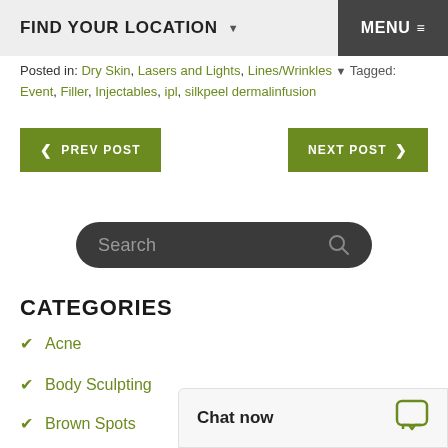FIND YOUR LOCATION   MENU
Posted in: Dry Skin, Lasers and Lights, Lines/Wrinkles   Tagged: Event, Filler, Injectables, ipl, silkpeel dermalinfusion
PREV POST   NEXT POST
[Figure (other): Search bar with dark rounded rectangle background and magnifying glass icon]
CATEGORIES
Acne
Body Sculpting
Brown Spots
Chat now